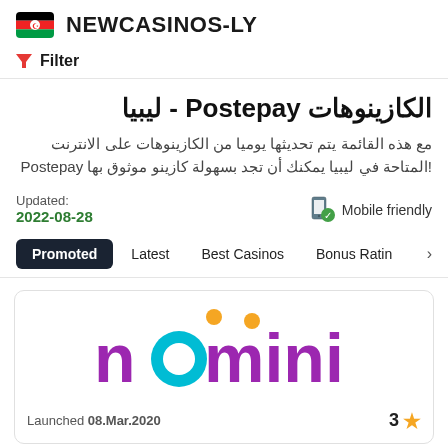NEWCASINOS-LY
Filter
الكازينوهات Postepay - ليبيا
مع هذه القائمة يتم تحديثها يوميا من الكازينوهات على الانترنت المتاحة في ليبيا يمكنك أن تجد بسهولة كازينو موثوق بها Postepay!
Updated: 2022-08-28
Mobile friendly
Promoted  Latest  Best Casinos  Bonus Rating
[Figure (logo): Nomini casino logo in purple and teal with orange dots]
Launched 08.Mar.2020  3 ★